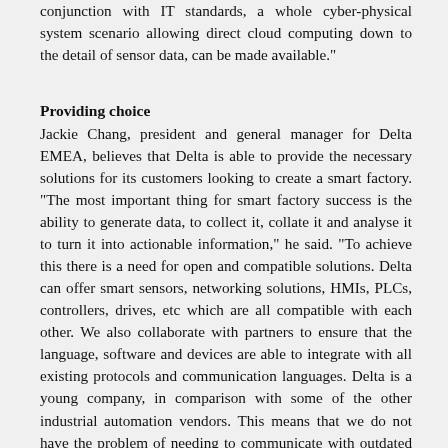conjunction with IT standards, a whole cyber-physical system scenario allowing direct cloud computing down to the detail of sensor data, can be made available."
Providing choice
Jackie Chang, president and general manager for Delta EMEA, believes that Delta is able to provide the necessary solutions for its customers looking to create a smart factory. “The most important thing for smart factory success is the ability to generate data, to collect it, collate it and analyse it to turn it into actionable information,” he said. “To achieve this there is a need for open and compatible solutions. Delta can offer smart sensors, networking solutions, HMIs, PLCs, controllers, drives, etc which are all compatible with each other. We also collaborate with partners to ensure that the language, software and devices are able to integrate with all existing protocols and communication languages. Delta is a young company, in comparison with some of the other industrial automation vendors. This means that we do not have the problem of needing to communicate with outdated legacy equipment when we introduce new solution."